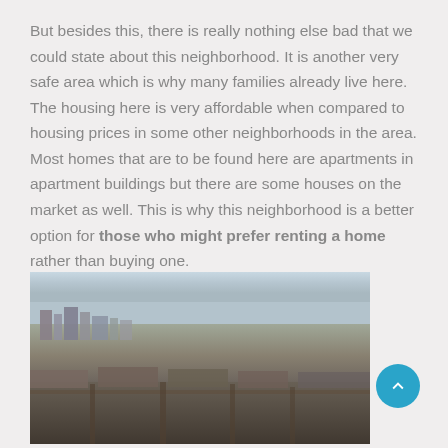But besides this, there is really nothing else bad that we could state about this neighborhood. It is another very safe area which is why many families already live here. The housing here is very affordable when compared to housing prices in some other neighborhoods in the area. Most homes that are to be found here are apartments in apartment buildings but there are some houses on the market as well. This is why this neighborhood is a better option for those who might prefer renting a home rather than buying one.
[Figure (photo): Aerial photograph of a city waterfront with urban skyline, residential neighbourhoods, roads, and a lake or body of water visible in the background.]